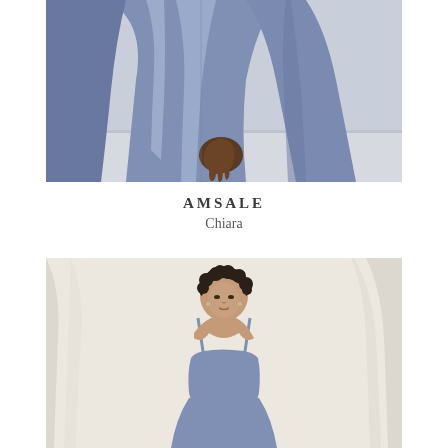[Figure (photo): Close-up of a model wearing a periwinkle/steel blue satin draped dress, showing the torso and hand against a light grey-blue background. The fabric has soft folds and movement.]
AMSALE
Chiara
[Figure (photo): Full or three-quarter view of a woman with short curly dark hair wearing a strappy periwinkle blue satin dress, photographed in front of a soft cream/ivory curtain backdrop.]